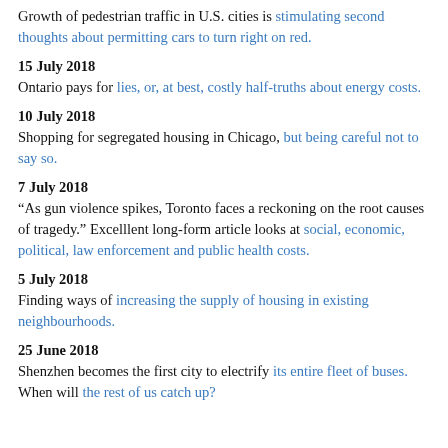Growth of pedestrian traffic in U.S. cities is stimulating second thoughts about permitting cars to turn right on red.
15 July 2018
Ontario pays for lies, or, at best, costly half-truths about energy costs.
10 July 2018
Shopping for segregated housing in Chicago, but being careful not to say so.
7 July 2018
“As gun violence spikes, Toronto faces a reckoning on the root causes of tragedy.” Excelllent long-form article looks at social, economic, political, law enforcement and public health costs.
5 July 2018
Finding ways of increasing the supply of housing in existing neighbourhoods.
25 June 2018
Shenzhen becomes the first city to electrify its entire fleet of buses. When will the rest of us catch up?